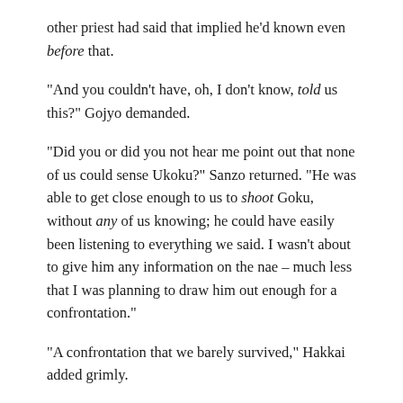other priest had said that implied he'd known even before that.
“And you couldn’t have, oh, I don’t know, told us this?” Gojyo demanded.
“Did you or did you not hear me point out that none of us could sense Ukoku?” Sanzo returned. “He was able to get close enough to us to shoot Goku, without any of us knowing; he could have easily been listening to everything we said. I wasn’t about to give him any information on the nae – much less that I was planning to draw him out enough for a confrontation.”
“A confrontation that we barely survived,” Hakkai added grimly.
“A confrontation that we did survive. And won,” Sanzo added.